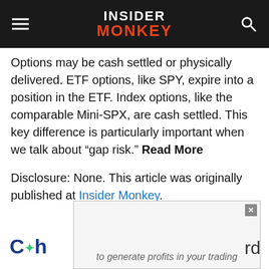INSIDER MONKEY
Options may be cash settled or physically delivered. ETF options, like SPY, expire into a position in the ETF. Index options, like the comparable Mini-SPX, are cash settled. This key difference is particularly important when we talk about “gap risk.” Read More
Disclosure: None. This article was originally published at Insider Monkey.
[Figure (other): Partially visible advertisement overlay with close button, partial logo text 'Ch' on left, partial text 'rd' on right, and text 'to generate profits in your trading' at bottom]